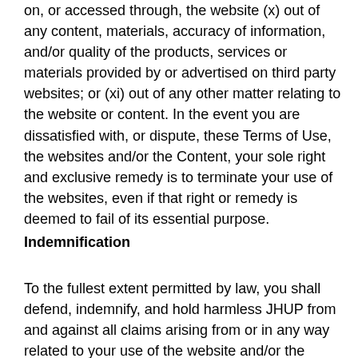on, or accessed through, the website (x) out of any content, materials, accuracy of information, and/or quality of the products, services or materials provided by or advertised on third party websites; or (xi) out of any other matter relating to the website or content. In the event you are dissatisfied with, or dispute, these Terms of Use, the websites and/or the Content, your sole right and exclusive remedy is to terminate your use of the websites, even if that right or remedy is deemed to fail of its essential purpose.
Indemnification
To the fullest extent permitted by law, you shall defend, indemnify, and hold harmless JHUP from and against all claims arising from or in any way related to your use of the website and/or the Content, a violation by you of these Terms of Use, or any other actions connected